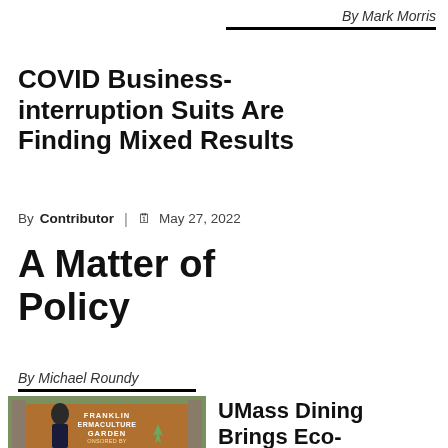By Mark Morris
COVID Business-interruption Suits Are Finding Mixed Results
By Contributor | May 27, 2022
A Matter of Policy
By Michael Roundy
[Figure (photo): Photo of a man in front of a sign reading FRANKLIN PERMACULTURE GARDEN, SPONSORED BY MASS DINING]
UMass Dining Brings Eco-consciousness to the Kitchen